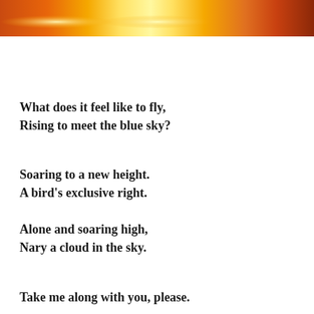[Figure (photo): Warm sunset/sunrise photo strip showing orange, yellow, and reddish-brown gradient sky tones]
What does it feel like to fly,
Rising to meet the blue sky?
Soaring to a new height.
A bird's exclusive right.
Alone and soaring high,
Nary a cloud in the sky.
Take me along with you, please.